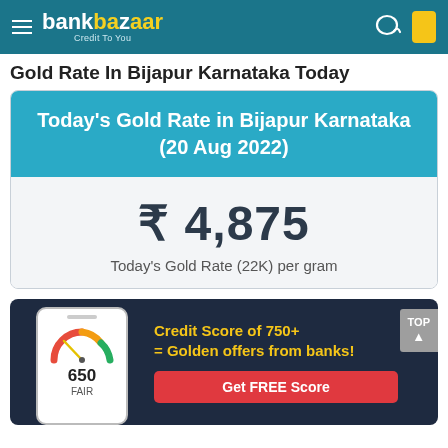bankbazaar – Credit To You
Gold Rate In Bijapur Karnataka Today
Today's Gold Rate in Bijapur Karnataka (20 Aug 2022)
₹ 4,875
Today's Gold Rate (22K) per gram
[Figure (infographic): Credit score promotion banner with phone mockup showing a gauge at 650 FAIR and text: Credit Score of 750+ = Golden offers from banks! Get FREE Score button.]